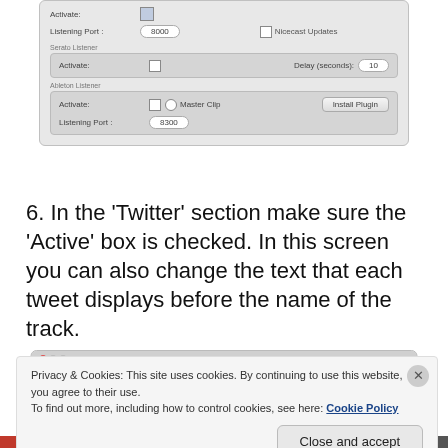[Figure (screenshot): macOS application preferences panel showing Listeners settings with Listening Port 8000, Nicecast Updates checkbox, Serato Listener section with Activate checkbox and Delay 10 seconds, and Ableton Listener section with Activate, Master Clip, Listening Port 8300, and Install Plugin button]
6. In the 'Twitter' section make sure the 'Active' box is checked. In this screen you can also change the text that each tweet displays before the name of the track.
[Figure (screenshot): RADR – Preferences window showing tabs: Main, Listeners, Twitter (active/selected tab highlighted in blue)]
Privacy & Cookies: This site uses cookies. By continuing to use this website, you agree to their use.
To find out more, including how to control cookies, see here: Cookie Policy
Close and accept